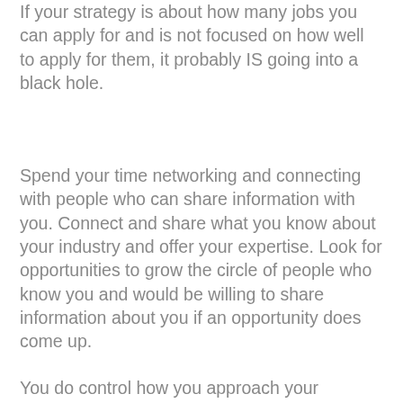If your strategy is about how many jobs you can apply for and is not focused on how well to apply for them, it probably IS going into a black hole.
Spend your time networking and connecting with people who can share information with you. Connect and share what you know about your industry and offer your expertise. Look for opportunities to grow the circle of people who know you and would be willing to share information about you if an opportunity does come up.
You do control how you approach your